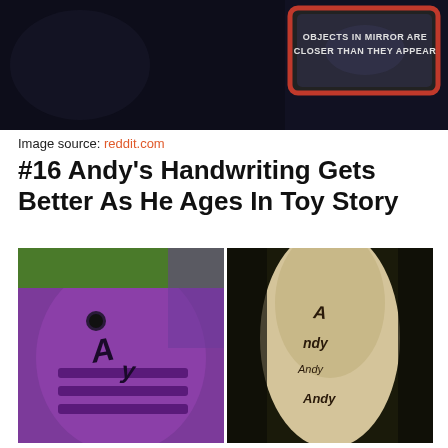[Figure (photo): Dark image showing a car side mirror with text 'OBJECTS IN MIRROR ARE CLOSER THAN THEY APPEAR' on a red-bordered mirror]
Image source: reddit.com
#16 Andy's Handwriting Gets Better As He Ages In Toy Story
[Figure (photo): Side-by-side comparison of two Toy Story scenes showing Andy's handwriting on toys — left shows a purple toy with childish 'Andy' written on the bottom, right shows Buzz Lightyear's boot with more mature 'Andy' handwriting]